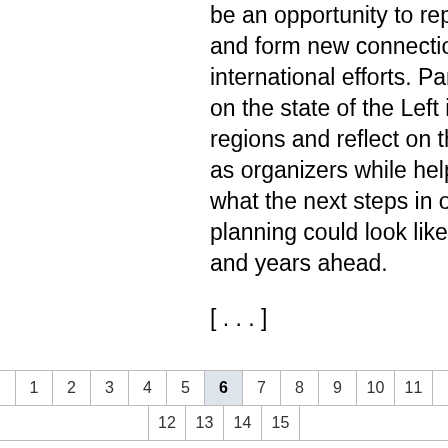be an opportunity to report on activity and form new connections across international efforts. Panelists will report on the state of the Left in their respected regions and reflect on their experience as organizers while helping formulate what the next steps in organizing and planning could look like in the months and years ahead.
[ . . . ]
1 2 3 4 5 6 7 8 9 10 11 12 13 14 15